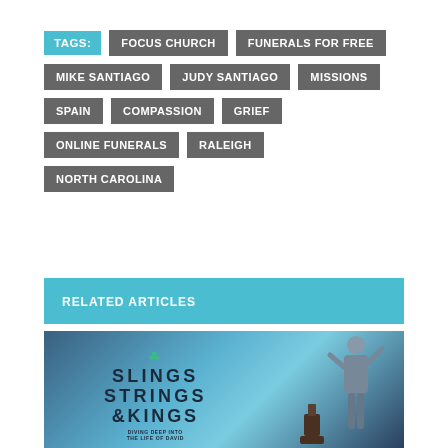TAGS:
FOCUS CHURCH
FUNERALS FOR FREE
MIKE SANTIAGO
JUDY SANTIAGO
MISSIONS
SPAIN
COMPASSION
GRIEF
ONLINE FUNERALS
RALEIGH
NORTH CAROLINA
RELATED ARTICLES
[Figure (photo): Photo of a speaker at a podium in front of a presentation screen displaying 'Slings Strings & Kings' with a crown logo and subtitle text.]